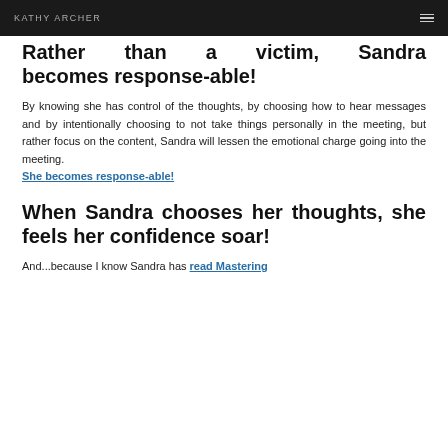KATHY ARCHER
Rather than a victim, Sandra becomes response-able!
By knowing she has control of the thoughts, by choosing how to hear messages and by intentionally choosing to not take things personally in the meeting, but rather focus on the content, Sandra will lessen the emotional charge going into the meeting. She becomes response-able!
When Sandra chooses her thoughts, she feels her confidence soar!
And...because I know Sandra has read Mastering